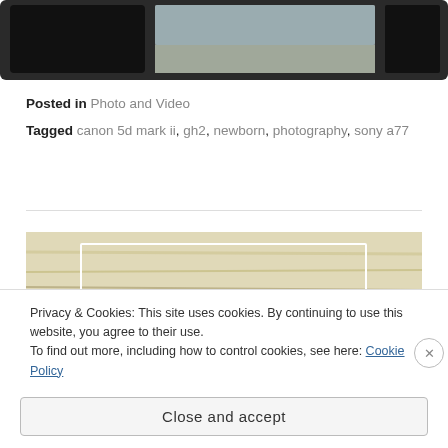[Figure (photo): Cropped top portion of a photo strip showing dark and blurred images, partially visible at the very top of the page]
Posted in Photo and Video
Tagged canon 5d mark ii, gh2, newborn, photography, sony a77
[Figure (photo): Partial photograph of what appears to be a newborn baby wrapped in cream/white fabric, with a white rectangle overlay, partially visible]
Privacy & Cookies: This site uses cookies. By continuing to use this website, you agree to their use. To find out more, including how to control cookies, see here: Cookie Policy
Close and accept